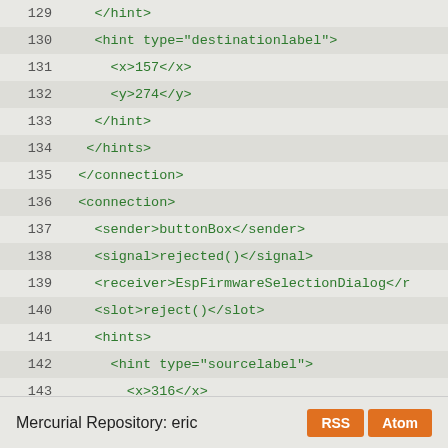129  </hint>
130      <hint type="destinationlabel">
131        <x>157</x>
132        <y>274</y>
133      </hint>
134    </hints>
135  </connection>
136  <connection>
137    <sender>buttonBox</sender>
138    <signal>rejected()</signal>
139    <receiver>EspFirmwareSelectionDialog</receiver>
140    <slot>reject()</slot>
141    <hints>
142      <hint type="sourcelabel">
143        <x>316</x>
144        <y>260</y>
145      </hint>
146      <hint type="destinationlabel">
147        <x>286</x>
148        <y>274</y>
149      </hint>
150    </hints>
151  </connection>
152  </connections>
153 </ui>
Mercurial Repository: eric   RSS  Atom